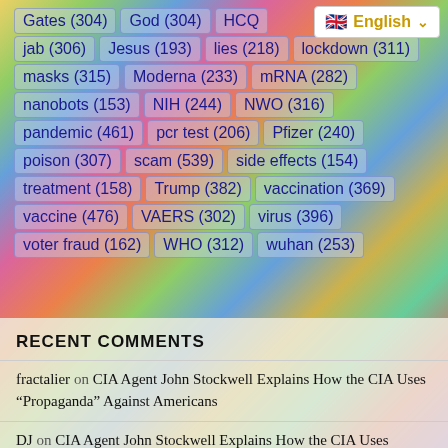[Figure (other): Colorful psychedelic swirling background image with vibrant blues, greens, yellows, reds]
Gates (304)   God (304)   HCQ (...)
jab (306)   Jesus (193)   lies (218)   lockdown (311)
masks (315)   Moderna (233)   mRNA (282)
nanobots (153)   NIH (244)   NWO (316)
pandemic (461)   pcr test (206)   Pfizer (240)
poison (307)   scam (539)   side effects (154)
treatment (158)   Trump (382)   vaccination (369)
vaccine (476)   VAERS (302)   virus (396)
voter fraud (162)   WHO (312)   wuhan (253)
RECENT COMMENTS
fractalier on CIA Agent John Stockwell Explains How the CIA Uses “Propaganda” Against Americans
DJ on CIA Agent John Stockwell Explains How the CIA Uses “Propaganda” Against Americans